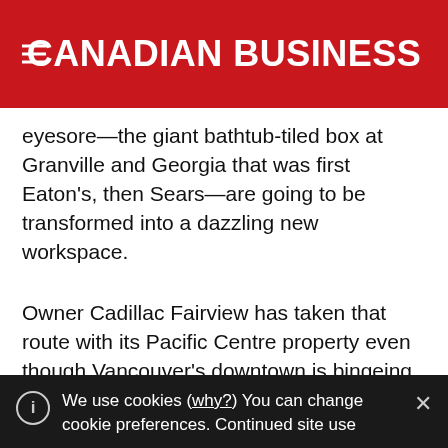CANADIAN BUSINESS
eyesore—the giant bathtub-tiled box at Granville and Georgia that was first Eaton's, then Sears—are going to be transformed into a dazzling new workspace.
Owner Cadillac Fairview has taken that route with its Pacific Centre property even though Vancouver's downtown is bingeing on office development already. There is a million square feet in three towers underway, and a million more in the planning stages for half a dozen more. This comes after almost a decade of inactivity.
We use cookies (why?) You can change cookie preferences. Continued site use